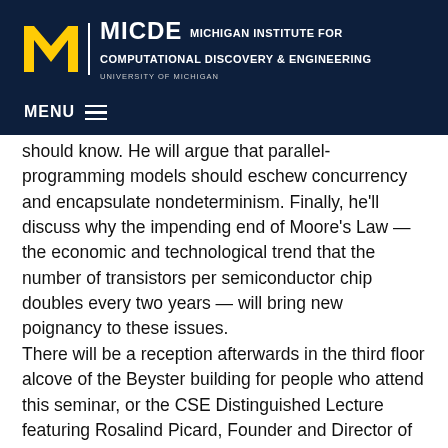[Figure (logo): MICDE Michigan Institute for Computational Discovery & Engineering, University of Michigan logo with block M]
MENU
should know. He will argue that parallel-programming models should eschew concurrency and encapsulate nondeterminism. Finally, he'll discuss why the impending end of Moore's Law — the economic and technological trend that the number of transistors per semiconductor chip doubles every two years — will bring new poignancy to these issues.
There will be a reception afterwards in the third floor alcove of the Beyster building for people who attend this seminar, or the CSE Distinguished Lecture featuring Rosalind Picard, Founder and Director of the Affective